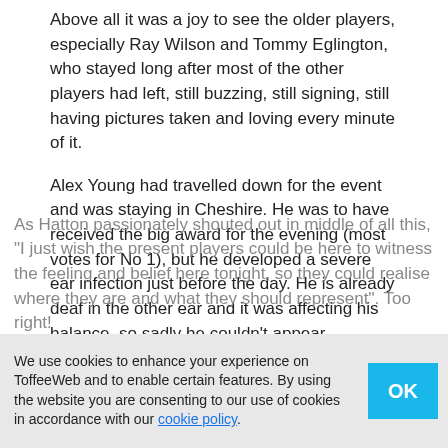Above all it was a joy to see the older players, especially Ray Wilson and Tommy Eglington, who stayed long after most of the other players had left, still buzzing, still signing, still having pictures taken and loving every minute of it.
Alex Young had travelled down for the event and was staying in Cheshire. He was to have received the big award for the evening (most votes for No 1), but he developed a severe ear infection just before the day. He is already deaf in the other ear and it was affecting his balance, so sadly he couldn't appear. Therefore they saved the big finish for Kendall, who received by far the loudest and most overwhelming reception of the evening. (He was having a good time and getting a massive boost from fans and players).
As Hatton passionately shouted out in middle of all this, "I just wish the present players could be here to witness the feeling and belief here tonight, so they could realise where they are and what they should represent". Too right!
We use cookies to enhance your experience on ToffeeWeb and to enable certain features. By using the website you are consenting to our use of cookies in accordance with our cookie policy.